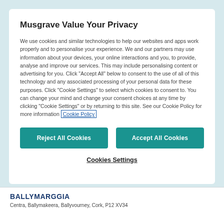Musgrave Value Your Privacy
We use cookies and similar technologies to help our websites and apps work properly and to personalise your experience. We and our partners may use information about your devices, your online interactions and you, to provide, analyse and improve our services. This may include personalising content or advertising for you. Click "Accept All" below to consent to the use of all of this technology and any associated processing of your personal data for these purposes. Click "Cookie Settings" to select which cookies to consent to. You can change your mind and change your consent choices at any time by clicking "Cookie Settings" or by returning to this site. See our Cookie Policy for more information Cookie Policy
Reject All Cookies
Accept All Cookies
Cookies Settings
BallyMarGGia
Centra, Ballymakeera, Ballyvourney, Cork, P12 XV34